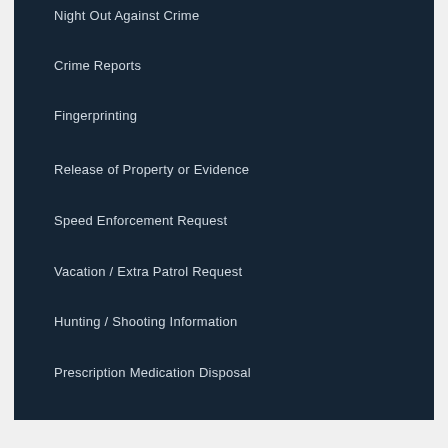Night Out Against Crime
Crime Reports
Fingerprinting
Release of Property or Evidence
Speed Enforcement Request
Vacation / Extra Patrol Request
Hunting / Shooting Information
Prescription Medication Disposal